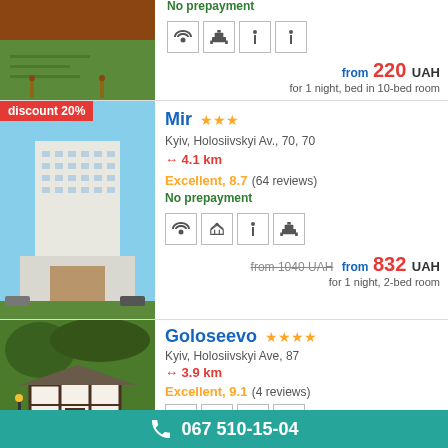No prepayment
from 220 UAH
for 1 night, bed in 10-bed room
discount 20%
Mir ★★★
Kyiv, Holosiivskyi Av., 70, 70
↔ 4.1 km
Excellent, 8.7 (64 reviews)
No prepayment
from 1040 UAH  from 832 UAH
for 1 night, 2-bed room
Goloseevo ★★★★
Kyiv, Holosiivskyi Ave, 87
↔ 3.9 km
Excellent, 9.1 (4 reviews)
067 510-15-04